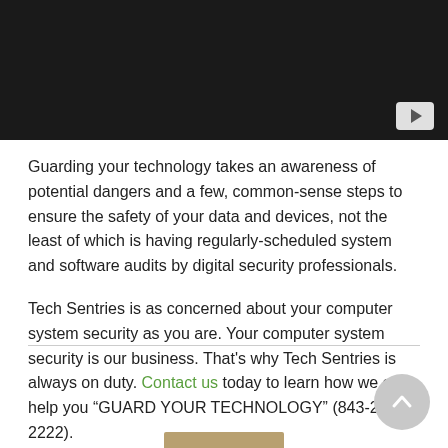[Figure (screenshot): Dark video player area with a play button in the bottom-right corner]
Guarding your technology takes an awareness of potential dangers and a few, common-sense steps to ensure the safety of your data and devices, not the least of which is having regularly-scheduled system and software audits by digital security professionals.
Tech Sentries is as concerned about your computer system security as you are. Your computer system security is our business. That's why Tech Sentries is always on duty. Contact us today to learn how we can help you “GUARD YOUR TECHNOLOGY” (843-282-2222).